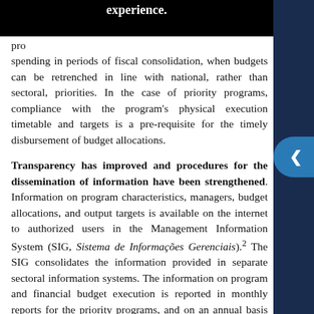experience. pro spending in periods of fiscal consolidation, when budgets can be retrenched in line with national, rather than sectoral, priorities. In the case of priority programs, compliance with the program's physical execution timetable and targets is a pre-requisite for the timely disbursement of budget allocations.
Transparency has improved and procedures for the dissemination of information have been strengthened. Information on program characteristics, managers, budget allocations, and output targets is available on the internet to authorized users in the Management Information System (SIG, Sistema de Informações Gerenciais).2 The SIG consolidates the information provided in separate sectoral information systems. The information on program and financial budget execution is reported in monthly reports for the priority programs, and on an annual basis for all programs in the PPA (available at the MoP website).